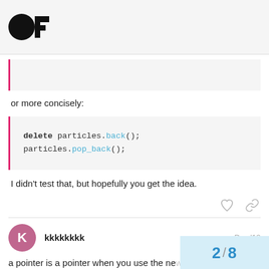openFrameworks forum
[Figure (other): Empty code block with pink left border]
or more concisely:
[Figure (screenshot): Code block showing: delete particles.back(); particles.pop_back();]
I didn't test that, but hopefully you get the idea.
kkkkkkkk   Dec '12
a pointer is a pointer when you use the new